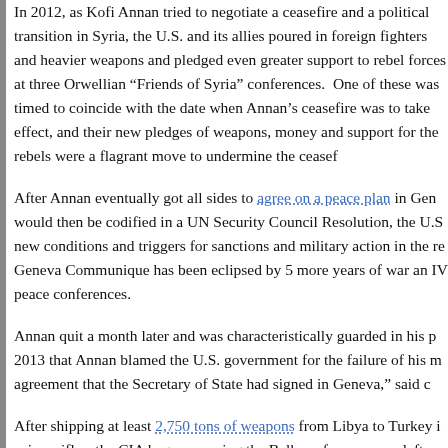In 2012, as Kofi Annan tried to negotiate a ceasefire and a political transition in Syria, the U.S. and its allies poured in foreign fighters and heavier weapons and pledged even greater support to rebel forces at three Orwellian “Friends of Syria” conferences.  One of these was timed to coincide with the date when Annan’s ceasefire was to take effect, and their new pledges of weapons, money and support for the rebels were a flagrant move to undermine the ceasef…
After Annan eventually got all sides to agree on a peace plan in Gen… would then be codified in a UN Security Council Resolution, the U.S… new conditions and triggers for sanctions and military action in the re… Geneva Communique has been eclipsed by 5 more years of war an… IV peace conferences.
Annan quit a month later and was characteristically guarded in his p… 2013 that Annan blamed the U.S. government for the failure of his m… agreement that the Secretary of State had signed in Geneva,” said c…
After shipping at least 2,750 tons of weapons from Libya to Turkey i… sniper rifles, the CIA began scouring the Balkans for weapons left ov… Qataris could buy to flood into Syria through Turkey and Jordan.  Th… from Croatia by March 2013.